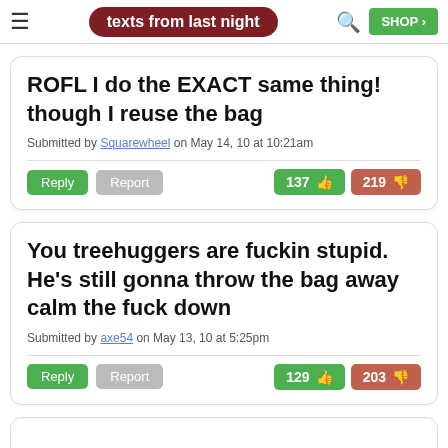texts from last night
ROFL I do the EXACT same thing! though I reuse the bag
Submitted by Squarewheel on May 14, 10 at 10:21am
Reply | Report | 137 thumbs up | 219 thumbs down
You treehuggers are fuckin stupid. He's still gonna throw the bag away calm the fuck down
Submitted by axe54 on May 13, 10 at 5:25pm
Reply | Report | 129 thumbs up | 203 thumbs down